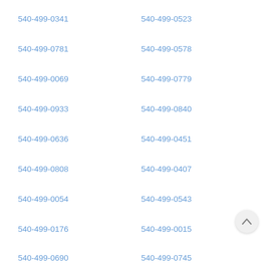540-499-0341
540-499-0523
540-499-0781
540-499-0578
540-499-0069
540-499-0779
540-499-0933
540-499-0840
540-499-0636
540-499-0451
540-499-0808
540-499-0407
540-499-0054
540-499-0543
540-499-0176
540-499-0015
540-499-0690
540-499-0745